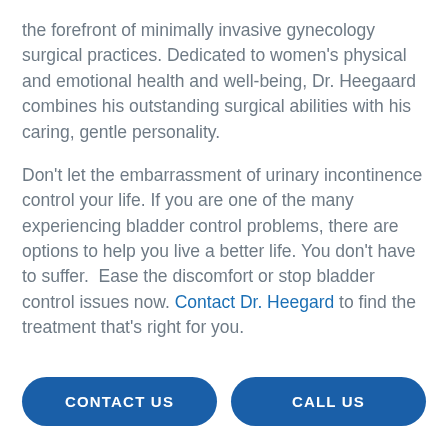the forefront of minimally invasive gynecology surgical practices. Dedicated to women's physical and emotional health and well-being, Dr. Heegaard combines his outstanding surgical abilities with his caring, gentle personality.
Don't let the embarrassment of urinary incontinence control your life. If you are one of the many experiencing bladder control problems, there are options to help you live a better life. You don't have to suffer.  Ease the discomfort or stop bladder control issues now. Contact Dr. Heegard to find the treatment that's right for you.
CONTACT US
CALL US